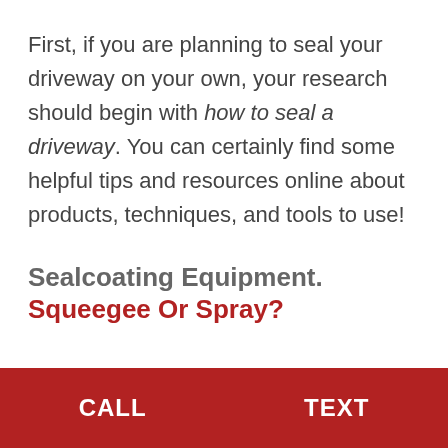First, if you are planning to seal your driveway on your own, your research should begin with how to seal a driveway. You can certainly find some helpful tips and resources online about products, techniques, and tools to use!
Sealcoating Equipment. Squeegee Or Spray?
CALL    TEXT